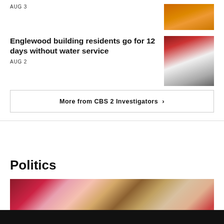AUG 3
[Figure (photo): Person in orange clothing]
Englewood building residents go for 12 days without water service
AUG 2
[Figure (photo): Person standing near a sink or bathroom area]
More from CBS 2 Investigators ›
Politics
[Figure (photo): Crowd of people at a political event, some wearing pink shirts and holding signs]